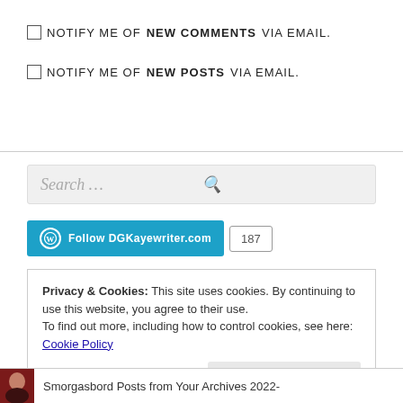NOTIFY ME OF NEW COMMENTS VIA EMAIL.
NOTIFY ME OF NEW POSTS VIA EMAIL.
[Figure (screenshot): Search input box with placeholder text 'Search...' and a search icon on the right]
[Figure (screenshot): WordPress Follow DGKayewriter.com button with follower count 187]
Privacy & Cookies: This site uses cookies. By continuing to use this website, you agree to their use. To find out more, including how to control cookies, see here: Cookie Policy
Close and accept
Smorgasbord Posts from Your Archives 2022-